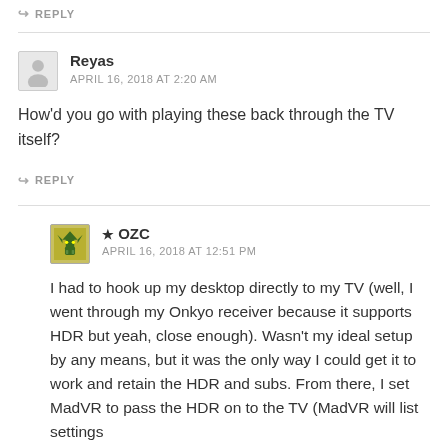↪ REPLY
Reyas
APRIL 16, 2018 AT 2:20 AM
How'd you go with playing these back through the TV itself?
↪ REPLY
★ OZC
APRIL 16, 2018 AT 12:51 PM
I had to hook up my desktop directly to my TV (well, I went through my Onkyo receiver because it supports HDR but yeah, close enough). Wasn't my ideal setup by any means, but it was the only way I could get it to work and retain the HDR and subs. From there, I set MadVR to pass the HDR on to the TV (MadVR will list settings